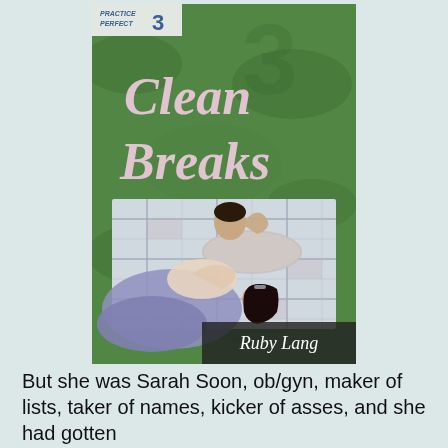[Figure (illustration): Book cover for 'Clean Breaks' by Ruby Lang, Book 3 in the Practice Perfect series. Cover shows aerial view of a man and woman lying on a plaid blanket on grass, looking at each other. Title in pink cursive script. Author name in white text on dark banner at bottom.]
But she was Sarah Soon, ob/gyn, maker of lists, taker of names, kicker of asses, and she had gotten...